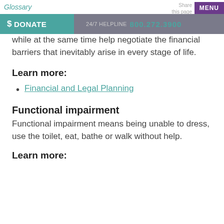Glossary | $ DONATE | 24/7 HELPLINE 800.272.3900 | Share this page | MENU
while at the same time help negotiate the financial barriers that inevitably arise in every stage of life.
Learn more:
Financial and Legal Planning
Functional impairment
Functional impairment means being unable to dress, use the toilet, eat, bathe or walk without help.
Learn more: